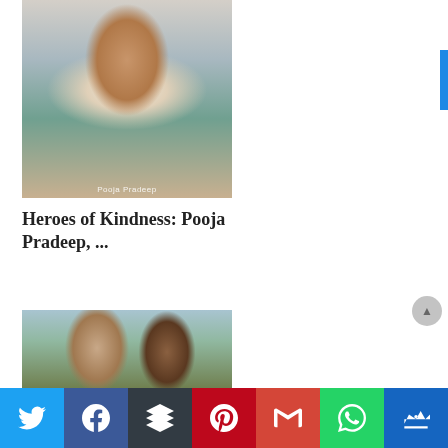[Figure (photo): Portrait photo of a young woman with curly dark hair, smiling, wearing a white sleeveless top, sitting outdoors. Caption text 'Pooja Pradeep' visible at bottom of image.]
Heroes of Kindness: Pooja Pradeep, ...
[Figure (photo): Photo of a couple — a tattooed shirtless man and a woman with curly hair smiling, outdoors with a white fence and green fields in the background.]